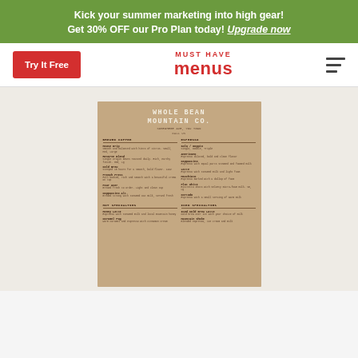Kick your summer marketing into high gear! Get 30% OFF our Pro Plan today! Upgrade now
[Figure (screenshot): Website header with Try It Free button (red), Must Have Menus logo (red), and hamburger menu icon]
[Figure (photo): Whole Bean Mountain Co. coffee shop menu card on kraft/brown paper background with sections: Brewed Coffee, Espresso, Hot Specialties, Iced Specialties]